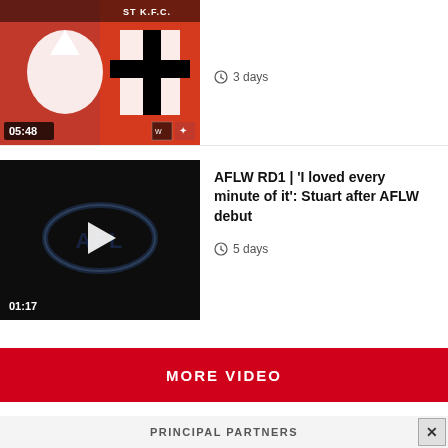[Figure (screenshot): Video thumbnail showing AFL St Kilda FC reddish background with duration 05:48 and icons]
3 days
[Figure (screenshot): Video thumbnail with dark background showing AFL logo oval and play button, duration 01:17]
AFLW RD1 | 'I loved every minute of it': Stuart after AFLW debut
5 days
MORE VIDEO
PRINCIPAL PARTNERS